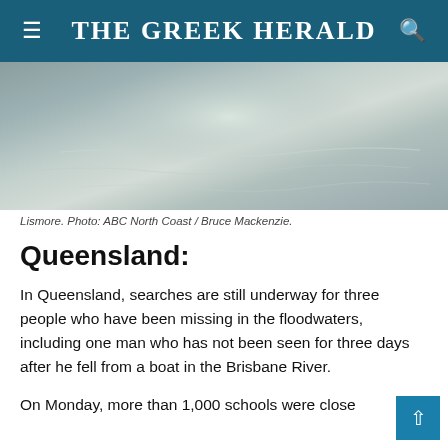THE GREEK HERALD
[Figure (photo): Aerial or ground-level view of Lismore floodwaters with light reflecting off the water surface.]
Lismore. Photo: ABC North Coast / Bruce Mackenzie.
Queensland:
In Queensland, searches are still underway for three people who have been missing in the floodwaters, including one man who has not been seen for three days after he fell from a boat in the Brisbane River.
On Monday, more than 1,000 schools were close